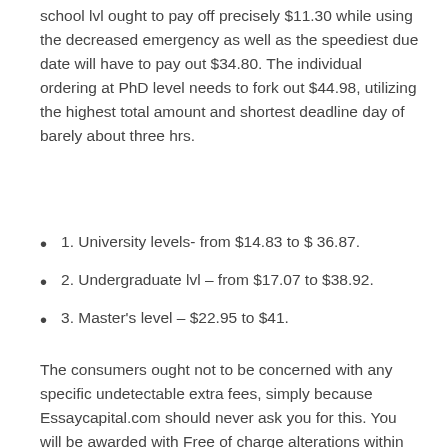school lvl ought to pay off precisely $11.30 while using the decreased emergency as well as the speediest due date will have to pay out $34.80. The individual ordering at PhD level needs to fork out $44.98, utilizing the highest total amount and shortest deadline day of barely about three hrs.
1. University levels- from $14.83 to $ 36.87.
2. Undergraduate lvl – from $17.07 to $38.92.
3. Master's level – $22.95 to $41.
The consumers ought not to be concerned with any specific undetectable extra fees, simply because Essaycapital.com should never ask you for this. You will be awarded with Free of charge alterations within the two week days and nights subsequent to realization of assignment;